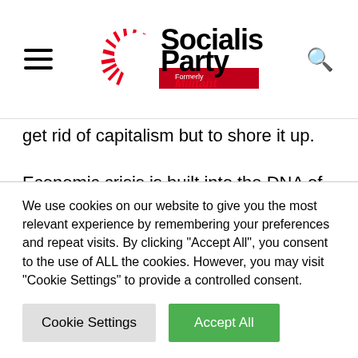[Figure (logo): Socialist Party logo with sun-burst graphic and 'Formerly Militant' tagline]
get rid of capitalism but to shore it up.
Economic crisis is built into the DNA of capitalism. Periodic booms and slumps have never been eliminated, with wholescale destruction of value, productive capacity and labour skills that are built up over time. The slumps drastically affect the
We use cookies on our website to give you the most relevant experience by remembering your preferences and repeat visits. By clicking "Accept All", you consent to the use of ALL the cookies. However, you may visit "Cookie Settings" to provide a controlled consent.